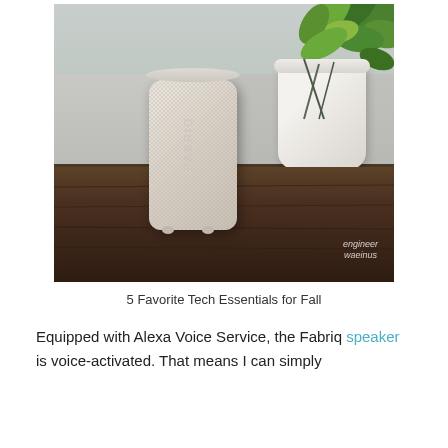[Figure (photo): A fabric-covered cylindrical Fabriq smart speaker sitting on a dark wood table, with a white ceramic planter holding a green leafy plant in the background. The speaker is light beige/cream colored with 'FABRIQ' text on it. An 'engineer waeinus' watermark is visible in the bottom right corner of the photo.]
5 Favorite Tech Essentials for Fall
Equipped with Alexa Voice Service, the Fabriq speaker is voice-activated. That means I can simply